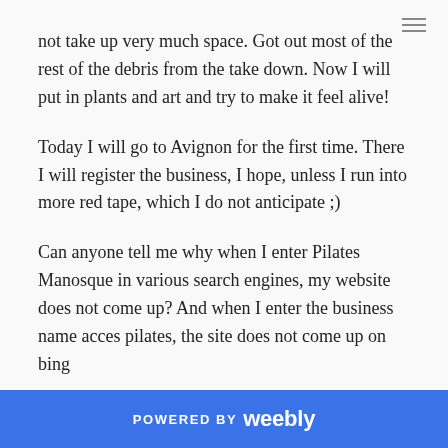not take up very much space. Got out most of the rest of the debris from the take down. Now I will put in plants and art and try to make it feel alive!
Today I will go to Avignon for the first time. There I will register the business, I hope, unless I run into more red tape, which I do not anticipate ;)
Can anyone tell me why when I enter Pilates Manosque in various search engines, my website does not come up? And when I enter the business name acces pilates, the site does not come up on bing
0 Comments
POWERED BY weebly